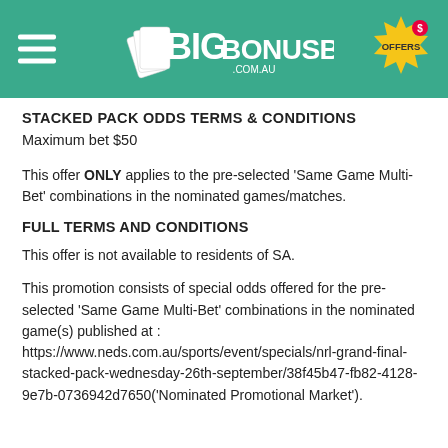[Figure (logo): BigBonusBets.com.au website header with green background, hamburger menu icon on left, BigBonusBets logo in center, and yellow offers badge on right]
STACKED PACK ODDS TERMS & CONDITIONS
Maximum bet $50
This offer ONLY applies to the pre-selected ‘Same Game Multi-Bet’ combinations in the nominated games/matches.
FULL TERMS AND CONDITIONS
This offer is not available to residents of SA.
This promotion consists of special odds offered for the pre-selected ‘Same Game Multi-Bet’ combinations in the nominated game(s) published at : https://www.neds.com.au/sports/event/specials/nrl-grand-final-stacked-pack-wednesday-26th-september/38f45b47-fb82-4128-9e7b-0736942d7650(‘Nominated Promotional Market’).